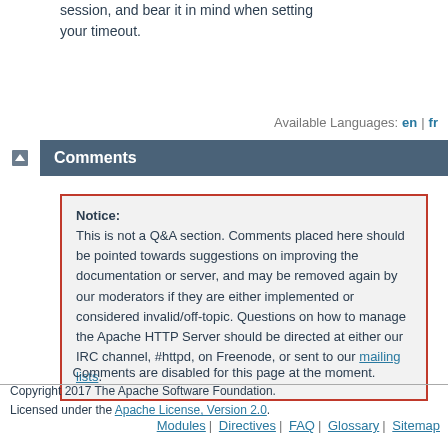session, and bear it in mind when setting your timeout.
Available Languages: en | fr
Comments
Notice: This is not a Q&A section. Comments placed here should be pointed towards suggestions on improving the documentation or server, and may be removed again by our moderators if they are either implemented or considered invalid/off-topic. Questions on how to manage the Apache HTTP Server should be directed at either our IRC channel, #httpd, on Freenode, or sent to our mailing lists.
Comments are disabled for this page at the moment.
Copyright 2017 The Apache Software Foundation. Licensed under the Apache License, Version 2.0.
Modules | Directives | FAQ | Glossary | Sitemap